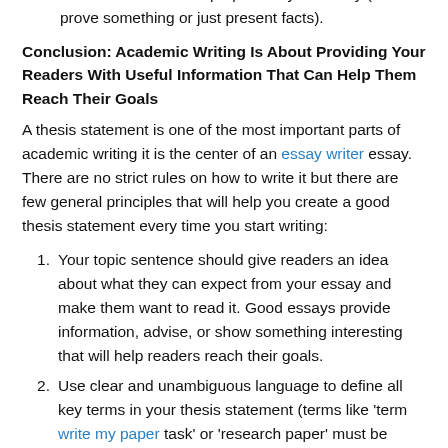information about the purpose of your essay (to prove something or just present facts).
Conclusion: Academic Writing Is About Providing Your Readers With Useful Information That Can Help Them Reach Their Goals
A thesis statement is one of the most important parts of academic writing it is the center of an essay writer essay. There are no strict rules on how to write it but there are few general principles that will help you create a good thesis statement every time you start writing:
Your topic sentence should give readers an idea about what they can expect from your essay and make them want to read it. Good essays provide information, advise, or show something interesting that will help readers reach their goals.
Use clear and unambiguous language to define all key terms in your thesis statement (terms like 'term write my paper task' or 'research paper' must be defined